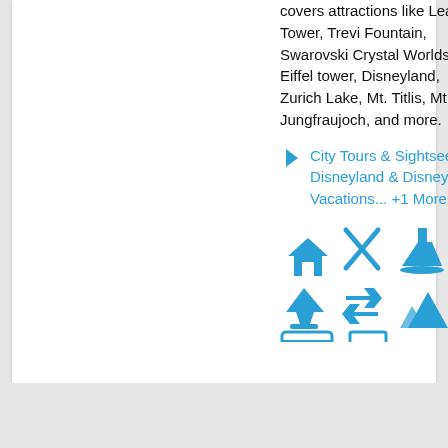covers attractions like Leaning Tower, Trevi Fountain, Swarovski Crystal Worlds, Eiffel tower, Disneyland, Zurich Lake, Mt. Titlis, Mt. Jungfraujoch, and more.
City Tours & Sightseeing | Disneyland & Disney Vacations... +1 More
[Figure (infographic): Row of blue travel/service icons: house, crossed items, boat, airplane, transfer arrows, mountains/nature, visa card, document]